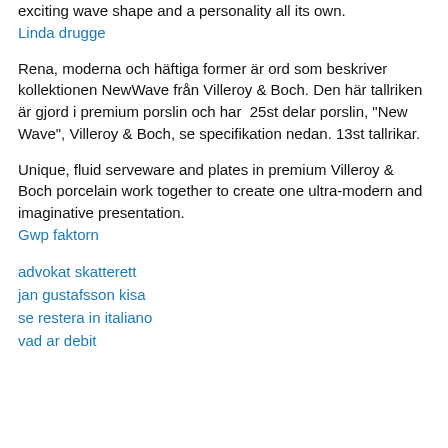exciting wave shape and a personality all its own.
Linda drugge
Rena, moderna och häftiga former är ord som beskriver kollektionen NewWave från Villeroy & Boch. Den här tallriken är gjord i premium porslin och har  25st delar porslin, "New Wave", Villeroy & Boch, se specifikation nedan. 13st tallrikar.
Unique, fluid serveware and plates in premium Villeroy & Boch porcelain work together to create one ultra-modern and imaginative presentation.
Gwp faktorn
advokat skatterett
jan gustafsson kisa
se restera in italiano
vad ar debit